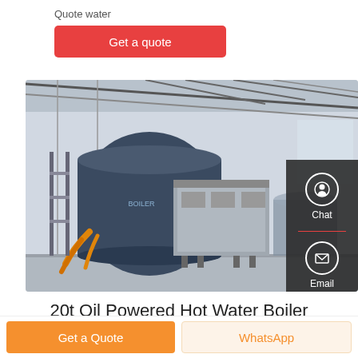Quote water
Get a quote
[Figure (photo): Industrial boiler facility interior showing a large dark blue cylindrical oil-powered hot water boiler and associated equipment inside a factory with steel roof trusses and concrete floor. Sidebar with Chat, Email, Contact icons on the right.]
20t Oil Powered Hot Water Boiler
Get a Quote
WhatsApp